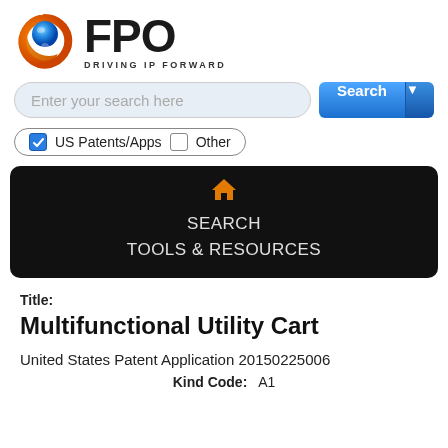[Figure (logo): FPO logo with blue and orange circular icon and text 'FPO DRIVING IP FORWARD']
[Figure (screenshot): Search bar with placeholder 'Enter your search here' and a blue Search button with dropdown arrow]
[Figure (screenshot): Checkbox pill with checked 'US Patents/Apps' and unchecked 'Other' options]
[Figure (screenshot): Black navigation bar with orange home icon, SEARCH and TOOLS & RESOURCES links]
Title:
Multifunctional Utility Cart
United States Patent Application 20150225006
Kind Code: A1